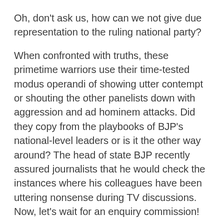Oh, don't ask us, how can we not give due representation to the ruling national party?
When confronted with truths, these primetime warriors use their time-tested modus operandi of showing utter contempt or shouting the other panelists down with aggression and ad hominem attacks. Did they copy from the playbooks of BJP's national-level leaders or is it the other way around? The head of state BJP recently assured journalists that he would check the instances where his colleagues have been uttering nonsense during TV discussions. Now, let's wait for an enquiry commission!
So, how do they get away with it? What explains this method to such commonsense-defying nightly madness? Indeed, the BJP panelists